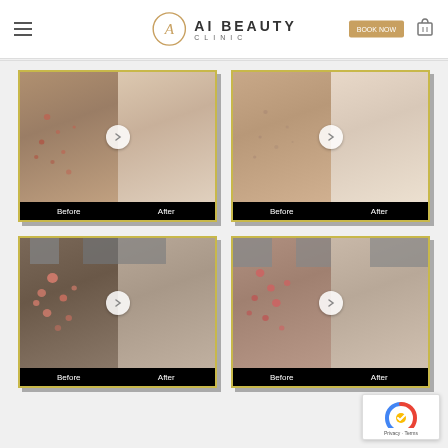AI Beauty Clinic
[Figure (photo): Before and after photo comparison of acne treatment on face, showing skin with acne before and clearer skin after]
[Figure (photo): Before and after photo comparison of skin treatment, showing rough/uneven skin before and smoother skin after]
[Figure (photo): Before and after photo comparison of acne/skin treatment showing red inflamed spots before and clearer skin after]
[Figure (photo): Before and after photo comparison of acne treatment showing red acne spots before and clearer skin after]